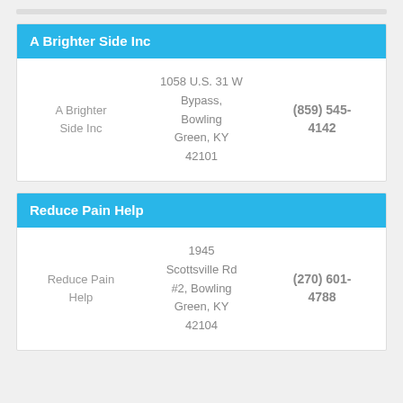A Brighter Side Inc
| Name | Address | Phone |
| --- | --- | --- |
| A Brighter Side Inc | 1058 U.S. 31 W Bypass, Bowling Green, KY 42101 | (859) 545-4142 |
Reduce Pain Help
| Name | Address | Phone |
| --- | --- | --- |
| Reduce Pain Help | 1945 Scottsville Rd #2, Bowling Green, KY 42104 | (270) 601-4788 |